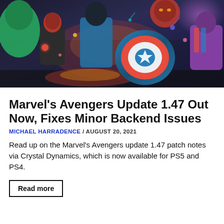[Figure (illustration): Marvel's Avengers game promotional artwork showing Black Widow, Captain America with shield, Hulk, Iron Man, and Ms. Marvel in an action-packed battle scene with colorful energy effects.]
Marvel's Avengers Update 1.47 Out Now, Fixes Minor Backend Issues
MICHAEL HARRADENCE / AUGUST 20, 2021
Read up on the Marvel's Avengers update 1.47 patch notes via Crystal Dynamics, which is now available for PS5 and PS4.
Read more